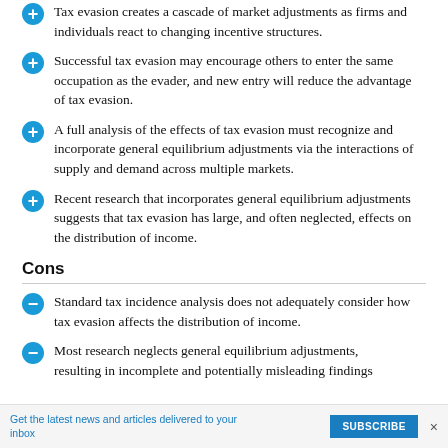Tax evasion creates a cascade of market adjustments as firms and individuals react to changing incentive structures.
Successful tax evasion may encourage others to enter the same occupation as the evader, and new entry will reduce the advantage of tax evasion.
A full analysis of the effects of tax evasion must recognize and incorporate general equilibrium adjustments via the interactions of supply and demand across multiple markets.
Recent research that incorporates general equilibrium adjustments suggests that tax evasion has large, and often neglected, effects on the distribution of income.
Cons
Standard tax incidence analysis does not adequately consider how tax evasion affects the distribution of income.
Most research neglects general equilibrium adjustments, resulting in incomplete and potentially misleading findings
Get the latest news and articles delivered to your inbox  SUBSCRIBE  ×